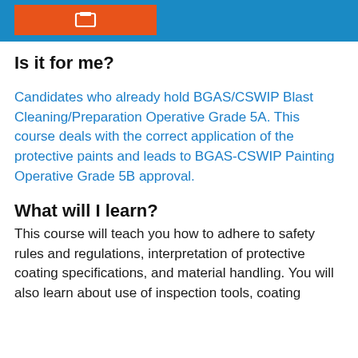Is it for me?
Candidates who already hold BGAS/CSWIP Blast Cleaning/Preparation Operative Grade 5A. This course deals with the correct application of the protective paints and leads to BGAS-CSWIP Painting Operative Grade 5B approval.
What will I learn?
This course will teach you how to adhere to safety rules and regulations, interpretation of protective coating specifications, and material handling. You will also learn about use of inspection tools, coating